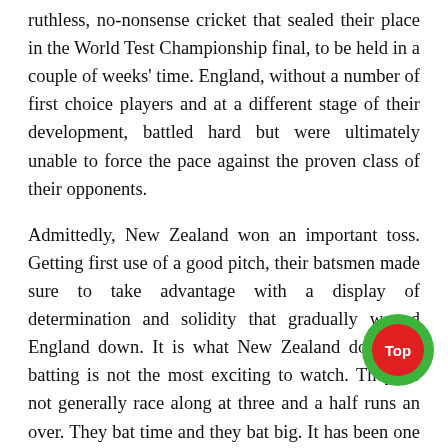ruthless, no-nonsense cricket that sealed their place in the World Test Championship final, to be held in a couple of weeks' time. England, without a number of first choice players and at a different stage of their development, battled hard but were ultimately unable to force the pace against the proven class of their opponents.
Admittedly, New Zealand won an important toss. Getting first use of a good pitch, their batsmen made sure to take advantage with a display of determination and solidity that gradually wound England down. It is what New Zealand do. Their batting is not the most exciting to watch. They do not generally race along at three and a half runs an over. They bat time and they bat big. It has been one of the hallmarks of their eleven Test series wins in their rubbers. Today was no different.
Conway played some sparkling strokes, not least the one
[Figure (other): A circular 'Top' button: green outer circle with a red inner circle containing the text 'Top' in white bold font.]